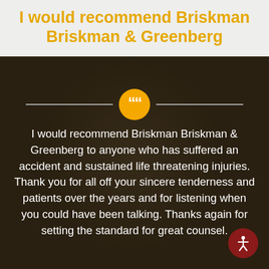I would recommend Briskman Briskman & Greenberg
I would recommend Briskman Briskman & Greenberg to anyone who has suffered an accident and sustained life threatening injuries. Thank you for all off your sincere tenderness and patients over the years and for listening when you could have been talking. Thanks again for setting the standard for great counsel.